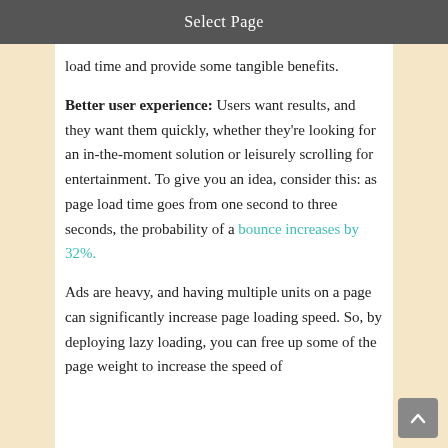Select Page
load time and provide some tangible benefits.
Better user experience: Users want results, and they want them quickly, whether they're looking for an in-the-moment solution or leisurely scrolling for entertainment. To give you an idea, consider this: as page load time goes from one second to three seconds, the probability of a bounce increases by 32%.
Ads are heavy, and having multiple units on a page can significantly increase page loading speed. So, by deploying lazy loading, you can free up some of the page weight to increase the speed of